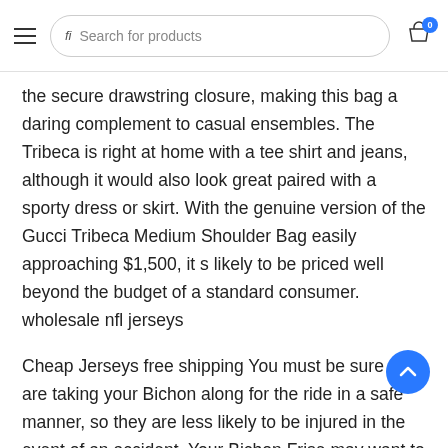Search for products
the secure drawstring closure, making this bag a daring complement to casual ensembles. The Tribeca is right at home with a tee shirt and jeans, although it would also look great paired with a sporty dress or skirt. With the genuine version of the Gucci Tribeca Medium Shoulder Bag easily approaching $1,500, it s likely to be priced well beyond the budget of a standard consumer. wholesale nfl jerseys
Cheap Jerseys free shipping You must be sure you are taking your Bichon along for the ride in a safe manner, so they are less likely to be injured in the event of an accident. Your Bichon Frise may want to sit in your lap